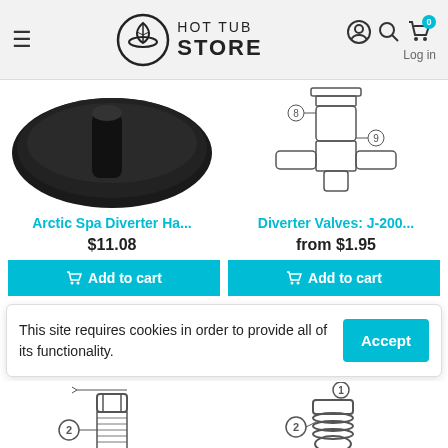Hot Tub Store — navigation header with logo, hamburger menu, search, account, and cart icons
[Figure (photo): Black diverter handle product image (cropped)]
[Figure (engineering-diagram): Diverter valve parts diagram with numbered components 8 and 9]
Arctic Spa Diverter Ha...
$11.08
Add to cart
Diverter Valves: J-200...
from $1.95
Add to cart
This site requires cookies in order to provide all of its functionality.
Accept
[Figure (engineering-diagram): Tool and bolt assembly diagram with component labeled 2]
[Figure (engineering-diagram): Valve parts diagram with components labeled 1 and 2]